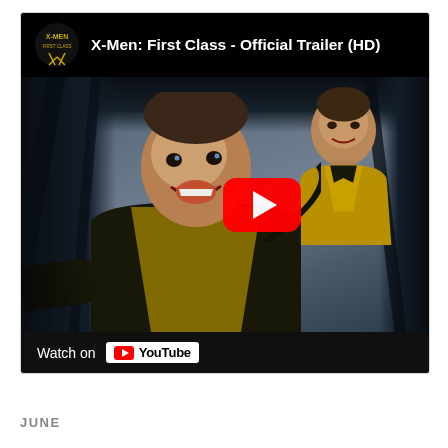[Figure (screenshot): YouTube embedded video player showing 'X-Men: First Class - Official Trailer (HD)'. The header shows the X-Men: First Class logo on the left and the title text on a black background. The thumbnail shows two actors in black-and-yellow X-Men suits inside a cockpit/aircraft, with a large red YouTube play button centered on the right side of the image. A 'Watch on YouTube' bar appears at the bottom of the player.]
JUNE